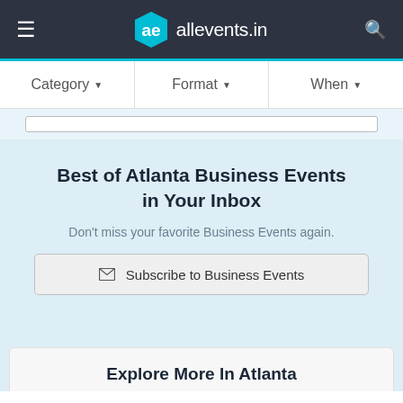ae allevents.in
Category ▾   Format ▾   When ▾
Best of Atlanta Business Events in Your Inbox
Don't miss your favorite Business Events again.
Subscribe to Business Events
Explore More In Atlanta